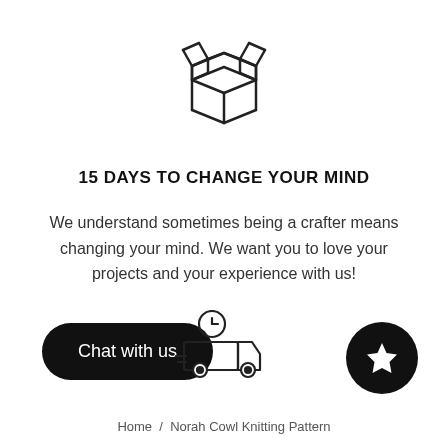[Figure (illustration): Open box icon (outline style)]
15 DAYS TO CHANGE YOUR MIND
We understand sometimes being a crafter means changing your mind. We want you to love your projects and your experience with us!
[Figure (illustration): Chat with us button (black pill shape)]
[Figure (illustration): Delivery truck with clock icon (outline style)]
[Figure (illustration): Black circle with white star icon]
Home / Norah Cowl Knitting Pattern